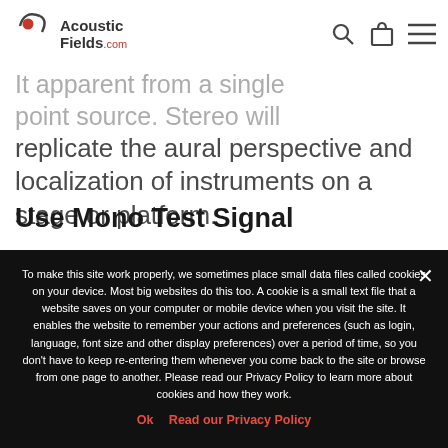Acoustic Fields .com navigation header with search, bag, and menu icons
replicate the aural perspective and localization of instruments on a stage or platform.
Use Mono Test Signal
To make this site work properly, we sometimes place small data files called cookies on your device. Most big websites do this too. A cookie is a small text file that a website saves on your computer or mobile device when you visit the site. It enables the website to remember your actions and preferences (such as login, language, font size and other display preferences) over a period of time, so you don't have to keep re-entering them whenever you come back to the site or browse from one page to another. Please read our Privacy Policy to learn more about cookies and how they work.
Ok   Read our Privacy Policy